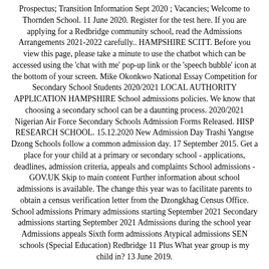Prospectus; Transition Information Sept 2020 ; Vacancies; Welcome to Thornden School. 11 June 2020. Register for the test here. If you are applying for a Redbridge community school, read the Admissions Arrangements 2021-2022 carefully.. HAMPSHIRE SCITT. Before you view this page, please take a minute to use the chatbot which can be accessed using the 'chat with me' pop-up link or the 'speech bubble' icon at the bottom of your screen. Mike Okonkwo National Essay Competition for Secondary School Students 2020/2021 LOCAL AUTHORITY APPLICATION HAMPSHIRE School admissions policies. We know that choosing a secondary school can be a daunting process. 2020/2021 Nigerian Air Force Secondary Schools Admission Forms Released. HISP RESEARCH SCHOOL. 15.12.2020 New Admission Day Trashi Yangtse Dzong Schools follow a common admission day. 17 September 2015. Get a place for your child at a primary or secondary school - applications, deadlines, admission criteria, appeals and complaints School admissions - GOV.UK Skip to main content Further information about school admissions is available. The change this year was to facilitate parents to obtain a census verification letter from the Dzongkhag Census Office. School admissions Primary admissions starting September 2021 Secondary admissions starting September 2021 Admissions during the school year Admissions appeals Sixth form admissions Atypical admissions SEN schools (Special Education) Redbridge 11 Plus What year group is my child in? 13 June 2019.